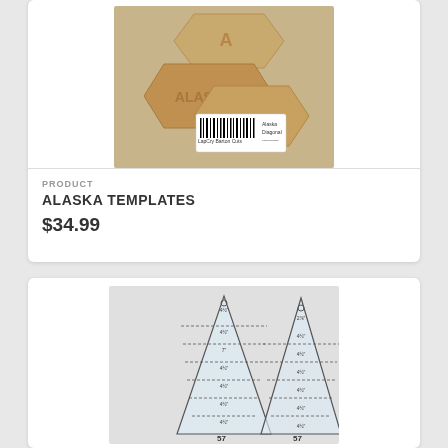[Figure (photo): Photo of Alaska quilting templates - brown/tan colored geometric template pieces with a barcode label]
PRODUCT
ALASKA TEMPLATES
$34.99
[Figure (photo): Photo of two clear acrylic triangular ruler/template tools with measurement markings, shown against a light gray background]